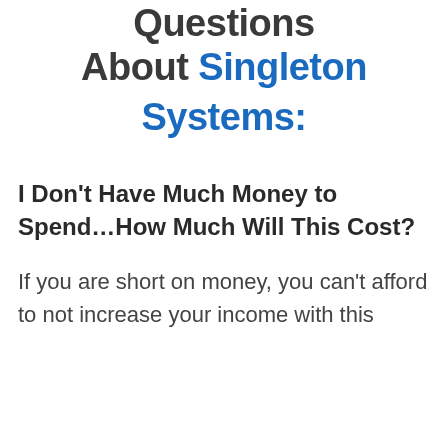Questions
About Singleton Systems:
I Don't Have Much Money to Spend…How Much Will This Cost?
If you are short on money, you can't afford to not increase your income with this